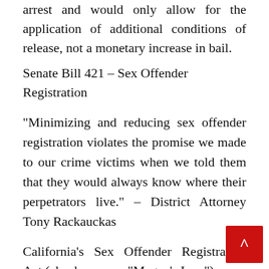arrest and would only allow for the application of additional conditions of release, not a monetary increase in bail.
Senate Bill 421 – Sex Offender Registration
“Minimizing and reducing sex offender registration violates the promise we made to our crime victims when we told them that they would always know where their perpetrators live.” – District Attorney Tony Rackauckas
California’s Sex Offender Registration Act (also known as “Megan’s Law”)